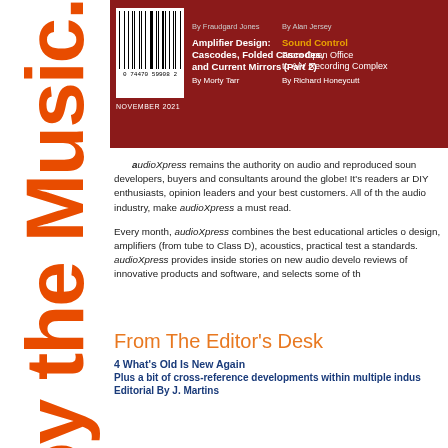[Figure (illustration): Vertical orange bold text reading 'oy the Music.c' rotated 90 degrees on left side of page, magazine decorative element]
[Figure (photo): Magazine cover of audioXpress November 2021 with dark red background, barcode, and article listings including 'Amplifier Design: Cascodes, Folded Cascodes, and Current Mirrors (Part 2) By Morty Tarr' and 'Sound Control From Open Office to A/V Recording Complex By Richard Honeycutt']
audioXpress remains the authority on audio and reproduced sound for developers, buyers and consultants around the globe! It's readers are DIY enthusiasts, opinion leaders and your best customers. All of the audio industry, make audioXpress a must read.
Every month, audioXpress combines the best educational articles on design, amplifiers (from tube to Class D), acoustics, practical test and standards. audioXpress provides inside stories on new audio developments, reviews of innovative products and software, and selects some of th
From The Editor's Desk
4 What's Old Is New Again
Plus a bit of cross-reference developments within multiple industries
Editorial By J. Martins